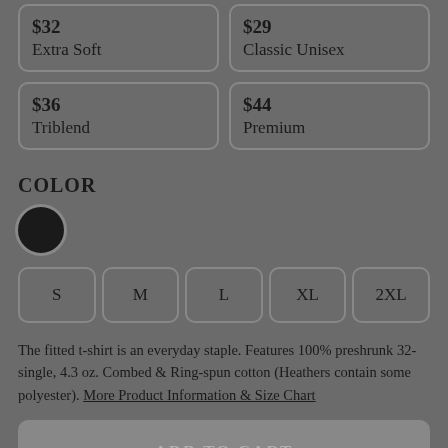$32 Extra Soft
$29 Classic Unisex
$36 Triblend
$44 Premium
COLOR
[Figure (other): Black color swatch circle selected]
S
M
L
XL
2XL
The fitted t-shirt is an everyday staple. Features 100% preshrunk 32-single, 4.3 oz. Combed & Ring-spun cotton (Heathers contain some polyester). More Product Information & Size Chart
ADD TO CART